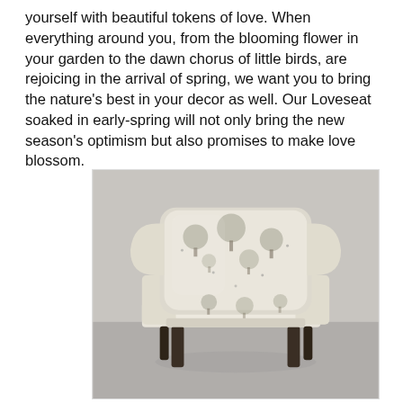yourself with beautiful tokens of love. When everything around you, from the blooming flower in your garden to the dawn chorus of little birds, are rejoicing in the arrival of spring, we want you to bring the nature's best in your decor as well. Our Loveseat soaked in early-spring will not only bring the new season's optimism but also promises to make love blossom.
[Figure (photo): A wingback armchair upholstered in cream fabric with a grey tree and nature pattern, featuring dark wooden legs, photographed against a light grey background.]